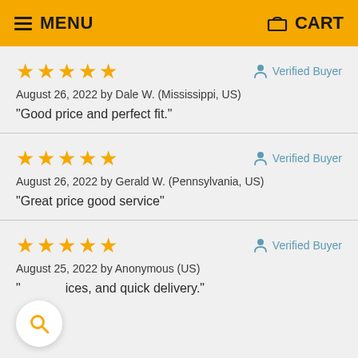MENU   CART
★★★★★   Verified Buyer
August 26, 2022 by Dale W. (Mississippi, US)
"Good price and perfect fit."
★★★★★   Verified Buyer
August 26, 2022 by Gerald W. (Pennsylvania, US)
"Great price good service"
★★★★★   Verified Buyer
August 25, 2022 by Anonymous (US)
"… ices, and quick delivery."